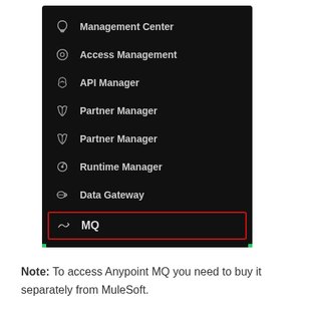[Figure (screenshot): Dark-themed navigation sidebar showing menu items: Management Center, Access Management, API Manager, Partner Manager (twice), Runtime Manager, Data Gateway, and MQ (highlighted with a red border). Green indicators appear at the bottom corners.]
Note: To access Anypoint MQ you need to buy it separately from MuleSoft.